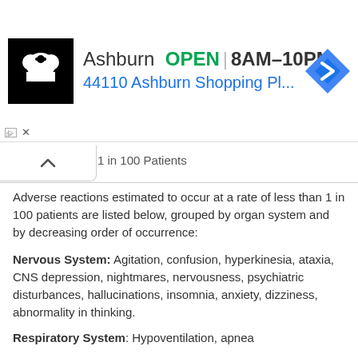[Figure (screenshot): Advertisement banner for a grocery store showing logo, OPEN status, hours 8AM-10PM, address 44110 Ashburn Shopping Pl..., and navigation icon]
Adverse reactions estimated to occur at a rate of less than 1 in 100 patients are listed below, grouped by organ system and by decreasing order of occurrence:
Nervous System: Agitation, confusion, hyperkinesia, ataxia, CNS depression, nightmares, nervousness, psychiatric disturbances, hallucinations, insomnia, anxiety, dizziness, abnormality in thinking.
Respiratory System: Hypoventilation, apnea
Cardiovascular System: Bradycardia, hypotension, syncope
Digestive System: Nausea, vomiting, constipation
Other Reported Reactions: Headache, injection site reactions, hypersensitivity reactions (angioedema, skin rashes, exfoliative dermatitis), fever, liver damage,